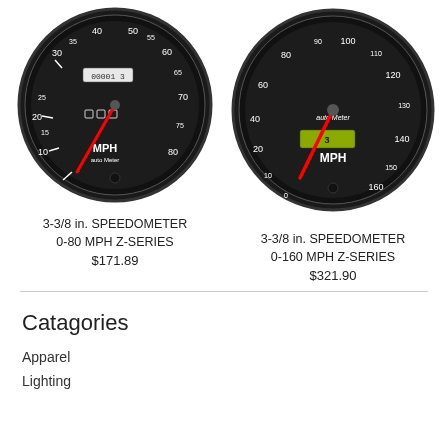[Figure (photo): Auto Meter Z-Series 3-3/8 in. speedometer gauge 0-80 MPH, black face with red needle and analog odometer display]
3-3/8 in. SPEEDOMETER 0-80 MPH Z-SERIES
$171.89
[Figure (photo): Auto Meter Z-Series 3-3/8 in. speedometer gauge 0-160 MPH, black face with red needle and digital LCD odometer display]
3-3/8 in. SPEEDOMETER 0-160 MPH Z-SERIES
$321.90
Catagories
Apparel
Lighting